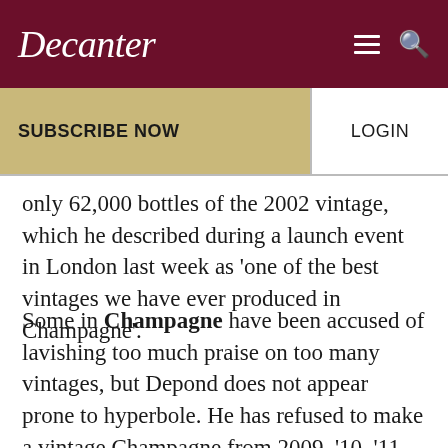Decanter
SUBSCRIBE NOW
LOGIN
only 62,000 bottles of the 2002 vintage, which he described during a launch event in London last week as ‘one of the best vintages we have ever produced in Champagne’.
Some in Champagne have been accused of lavishing too much praise on too many vintages, but Depond does not appear prone to hyperbole. He has refused to make a vintage Champagne from 2009, ‘10, ‘11 and ‘12, ‘because the quality was not at the right